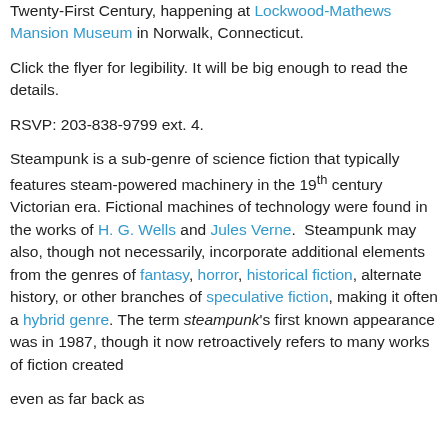Twenty-First Century, happening at Lockwood-Mathews Mansion Museum in Norwalk, Connecticut.
Click the flyer for legibility. It will be big enough to read the details.
RSVP: 203-838-9799 ext. 4.
Steampunk is a sub-genre of science fiction that typically features steam-powered machinery in the 19th century Victorian era. Fictional machines of technology were found in the works of H. G. Wells and Jules Verne. Steampunk may also, though not necessarily, incorporate additional elements from the genres of fantasy, horror, historical fiction, alternate history, or other branches of speculative fiction, making it often a hybrid genre. The term steampunk's first known appearance was in 1987, though it now retroactively refers to many works of fiction created even as far back as